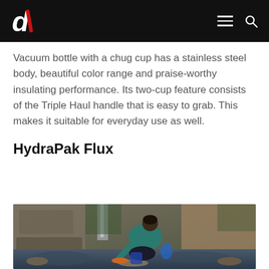d/ [logo] [hamburger menu] [search icon]
Vacuum bottle with a chug cup has a stainless steel body, beautiful color range and praise-worthy insulating performance. Its two-cup feature consists of the Triple Haul handle that is easy to grab. This makes it suitable for everyday use as well.
HydraPak Flux
[Figure (photo): A person kneeling on rocks beside a stream in a canyon, leaning forward and filling or handling a water bottle or hydration pack, wearing a teal long-sleeve shirt and dark pants. Rocky canyon walls and a waterfall visible in the background.]